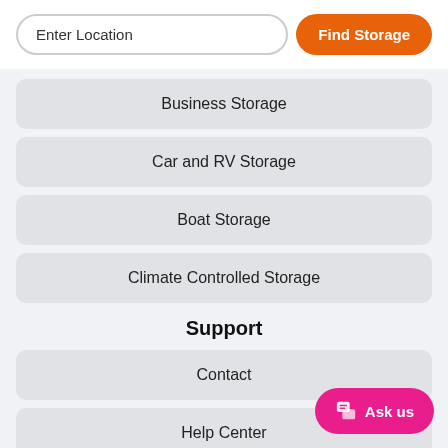Enter Location
Find Storage
Business Storage
Car and RV Storage
Boat Storage
Climate Controlled Storage
Support
Contact
Help Center
Size Guide
Ask us